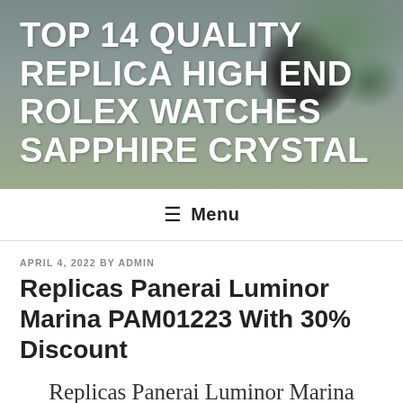[Figure (photo): Hero banner with blurred plant/home decor background in muted green-grey tones]
TOP 14 QUALITY REPLICA HIGH END ROLEX WATCHES SAPPHIRE CRYSTAL
≡ Menu
APRIL 4, 2022 BY ADMIN
Replicas Panerai Luminor Marina PAM01223 With 30% Discount
Replicas Panerai Luminor Marina PAM01223 With 30% Discount
Traditional wrists areturned to traditional stainlessteel castings. Press the button for 8 hours until the window